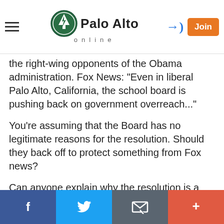Palo Alto online
the right-wing opponents of the Obama administration. Fox News: "Even in liberal Palo Alto, California, the school board is pushing back on government overreach..."
You're assuming that the Board has no legitimate reasons for the resolution. Should they back off to protect something from Fox news?
Can anyone explain why the resolution is a problem(other than political reasons)?
get real,
Facebook | Twitter | Email | More